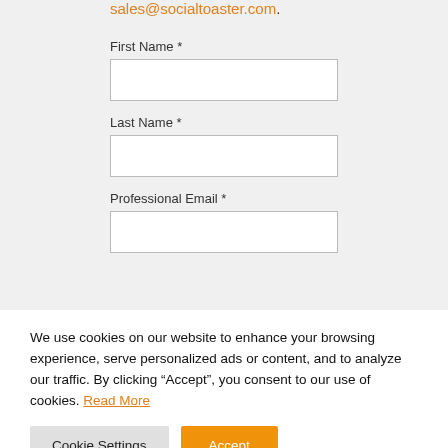sales@socialtoaster.com.
First Name *
Last Name *
Professional Email *
We use cookies on our website to enhance your browsing experience, serve personalized ads or content, and to analyze our traffic. By clicking “Accept”, you consent to our use of cookies. Read More
Cookie Settings
Accept